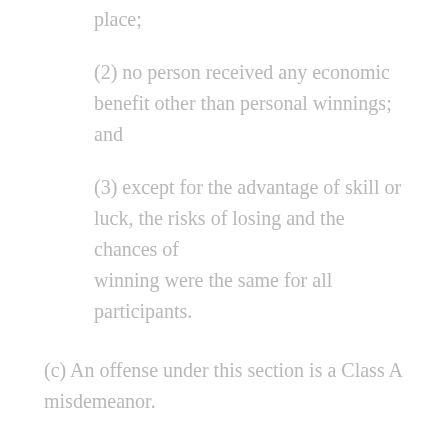(1) the gambling occurred in a private place;
(2) no person received any economic benefit other than personal winnings; and
(3) except for the advantage of skill or luck, the risks of losing and the chances of winning were the same for all participants.
(c) An offense under this section is a Class A misdemeanor.